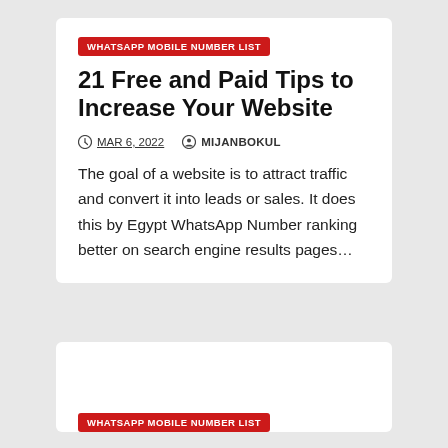WHATSAPP MOBILE NUMBER LIST
21 Free and Paid Tips to Increase Your Website
MAR 6, 2022   MIJANBOKUL
The goal of a website is to attract traffic and convert it into leads or sales. It does this by Egypt WhatsApp Number ranking better on search engine results pages…
WHATSAPP MOBILE NUMBER LIST